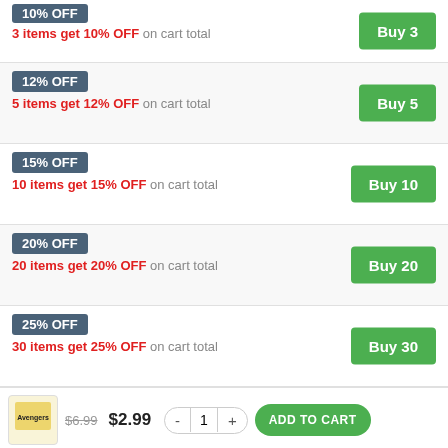10% OFF — 3 items get 10% OFF on cart total — Buy 3
12% OFF — 5 items get 12% OFF on cart total — Buy 5
15% OFF — 10 items get 15% OFF on cart total — Buy 10
20% OFF — 20 items get 20% OFF on cart total — Buy 20
25% OFF — 30 items get 25% OFF on cart total — Buy 30
$6.99  $2.99  - 1 +  ADD TO CART
99 LEFT TO BUY
Other people want this. There are 98 people are viewing this.